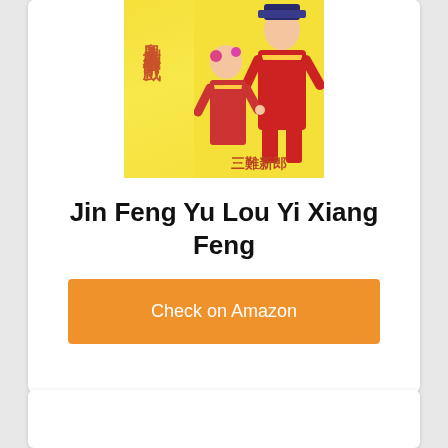[Figure (photo): Album or DVD cover for 'Jin Feng Yu Lou Yi Xiang Feng' featuring two performers in traditional Chinese Cantonese opera costumes on a yellow background with Chinese text '粵劇名曲折子戲' and '三難新郎']
Jin Feng Yu Lou Yi Xiang Feng
Check on Amazon